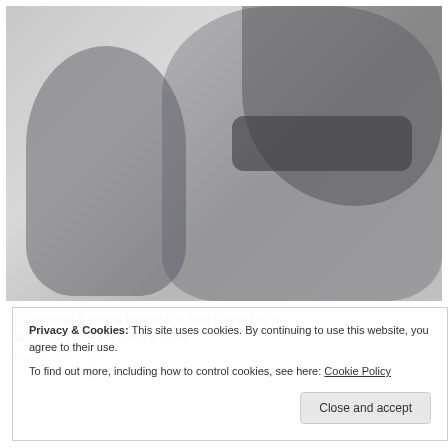[Figure (photo): Photo of a woman wearing sunglasses with dark hair, and a young child beside her, both photographed outdoors. Image appears faded/washed out.]
Privacy & Cookies: This site uses cookies. By continuing to use this website, you agree to their use. To find out more, including how to control cookies, see here: Cookie Policy
[Celebrity name] Sandra Bullock's Son Grew Up p W... See How He Looks Now.
ParentLike | Tuber
Rate This